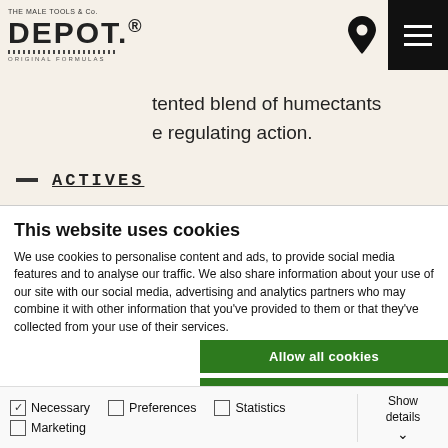[Figure (logo): DEPOT The Male Tools & Co. logo with dotted underline and Original Formulas text]
tented blend of humectants
regulating action.
— ACTIVES
This website uses cookies
We use cookies to personalise content and ads, to provide social media features and to analyse our traffic. We also share information about your use of our site with our social media, advertising and analytics partners who may combine it with other information that you've provided to them or that they've collected from your use of their services.
Allow all cookies
Allow selection
Use necessary cookies only
Necessary  Preferences  Statistics  Marketing  Show details